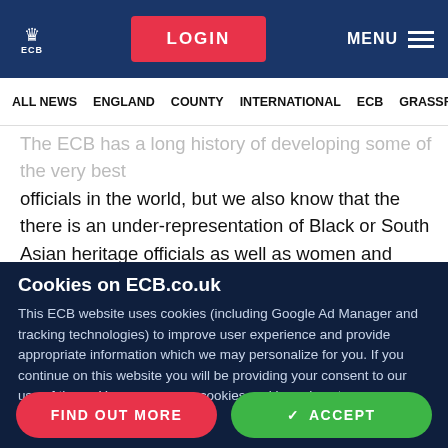ECB | LOGIN | MENU
ALL NEWS | ENGLAND | COUNTY | INTERNATIONAL | ECB | GRASSR
The ECB has a long history of developing some of the very best officials in the world, but we also know that the there is an under-representation of Black or South Asian heritage officials as well as women and people with disabilities within our professional and
Cookies on ECB.co.uk
This ECB website uses cookies (including Google Ad Manager and tracking technologies) to improve user experience and provide appropriate information which we may personalize for you. If you continue on this website you will be providing your consent to our use of these. You can see our cookies and learn how to manage them
FIND OUT MORE | ACCEPT